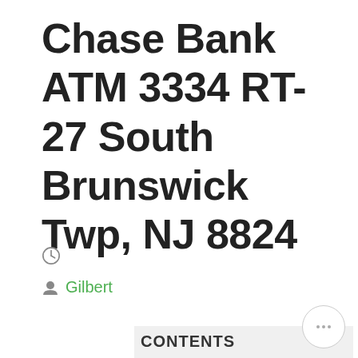Chase Bank ATM 3334 RT-27 South Brunswick Twp, NJ 8824
[Figure (other): Clock icon]
Gilbert
CONTENTS
5 registered sex offenders
Member fdic. categories:bank